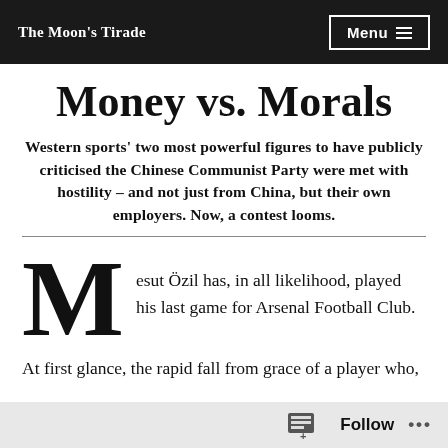The Moon's Tirade
Money vs. Morals
Western sports' two most powerful figures to have publicly criticised the Chinese Communist Party were met with hostility – and not just from China, but their own employers. Now, a contest looms.
Mesut Özil has, in all likelihood, played his last game for Arsenal Football Club.
At first glance, the rapid fall from grace of a player who,